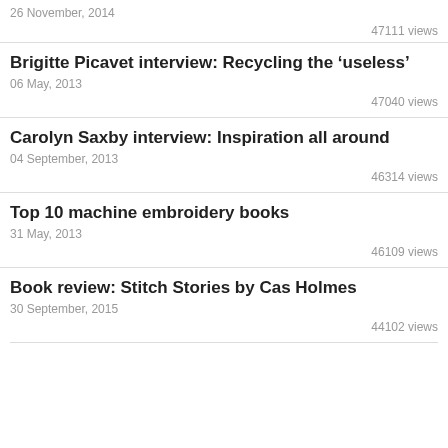26 November, 2014
47111 views
Brigitte Picavet interview: Recycling the ‘useless’
06 May, 2013
47040 views
Carolyn Saxby interview: Inspiration all around
04 September, 2013
46314 views
Top 10 machine embroidery books
31 May, 2013
46109 views
Book review: Stitch Stories by Cas Holmes
30 September, 2015
44102 views